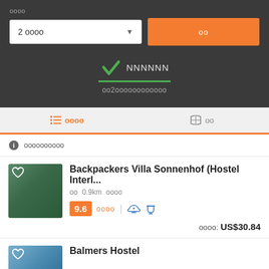oooo
2 oooo
oo
NNNNNN
oo2oooooooooooo
ooo  oooo   oo  oo
oooooooooo
Backpackers Villa Sonnenhof (Hostel Interl...
oo  0.9km oooo
9.6
oooo: US$30.84
Balmers Hostel